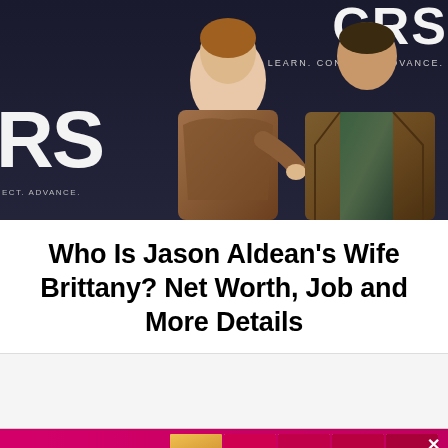[Figure (photo): Two people standing together at an event backdrop with large letters 'RS' and 'CRS' visible, along with text 'LEARN. CONNECT. ADVANCE.' — a man and woman wearing brown/tan outfits]
Who Is Jason Aldean's Wife Brittany? Net Worth, Job and More Details
[Figure (photo): Advertisement banner: '$1 AN ISSUE' with 'SUBSCRIBE NOW' button in pink/magenta, alongside magazine cover thumbnails]